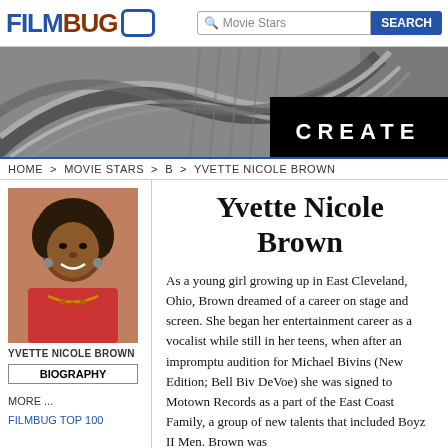FILMBUG [logo] Movie Stars [search] SEARCH
[Figure (photo): Banner image showing architectural interior with curved lines and a black box with text CREATE on the right]
HOME > MOVIE STARS > B > YVETTE NICOLE BROWN
[Figure (photo): Portrait photo of Yvette Nicole Brown smiling, wearing a red jacket and beaded necklace]
YVETTE NICOLE BROWN
BIOGRAPHY
MORE ...
FILMBUG TOP 100
MOVIE DICTIONARY
BROWSE ..
Yvette Nicole Brown
As a young girl growing up in East Cleveland, Ohio, Brown dreamed of a career on stage and screen. She began her entertainment career as a vocalist while still in her teens, when after an impromptu audition for Michael Bivins (New Edition; Bell Biv DeVoe) she was signed to Motown Records as a part of the East Coast Family, a group of new talents that included Boyz II Men. Brown was